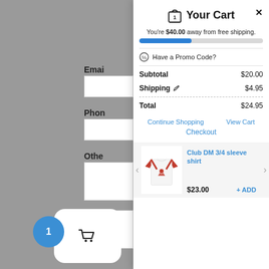Your Cart
You're $40.00 away from free shipping.
Have a Promo Code?
|  |  |
| --- | --- |
| Subtotal | $20.00 |
| Shipping ✏ | $4.95 |
| Total | $24.95 |
Continue Shopping
View Cart
Checkout
[Figure (photo): Club DM 3/4 sleeve shirt product image — white shirt with red 3/4 sleeves and a red diamond logo]
Club DM 3/4 sleeve shirt
$23.00
+ ADD